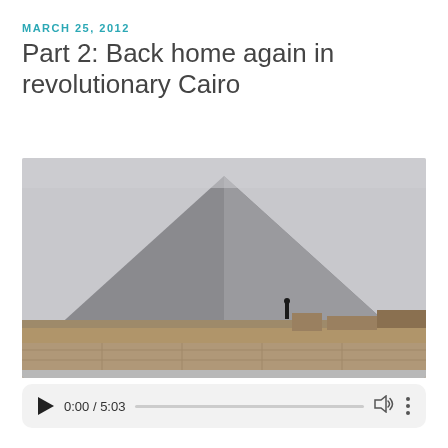MARCH 25, 2012
Part 2: Back home again in revolutionary Cairo
[Figure (photo): Photograph of a large Egyptian pyramid (likely the Great Pyramid of Giza) under an overcast grey sky, with sandy terrain and a lone figure visible at the base.]
0:00 / 5:03